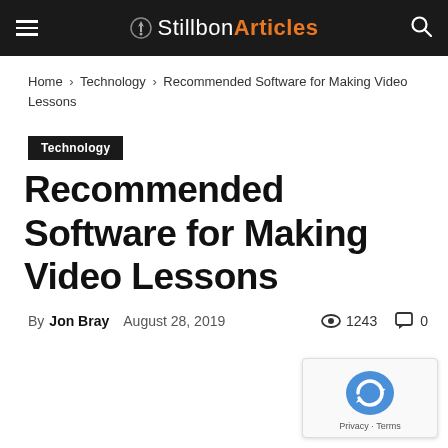Stillbon Articles
Home › Technology › Recommended Software for Making Video Lessons
Technology
Recommended Software for Making Video Lessons
By Jon Bray   August 28, 2019   1243   0